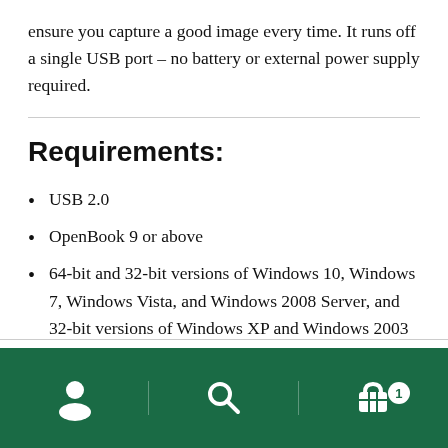ensure you capture a good image every time. It runs off a single USB port – no battery or external power supply required.
Requirements:
USB 2.0
OpenBook 9 or above
64-bit and 32-bit versions of Windows 10, Windows 7, Windows Vista, and Windows 2008 Server, and 32-bit versions of Windows XP and Windows 2003 Server operating systems
Navigation bar with user, search, and cart icons